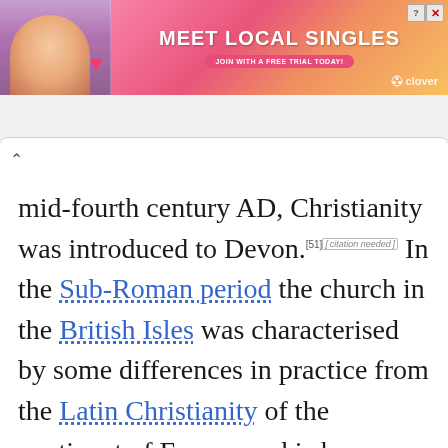[Figure (illustration): Advertisement banner for 'Clover' dating app with text 'MEET LOCAL SINGLES' and 'JOIN WITH A FREE TRIAL TODAY', featuring a woman's photo and pink/orange gradient background]
mid-fourth century AD, Christianity was introduced to Devon.[51][citation needed] In the Sub-Roman period the church in the British Isles was characterised by some differences in practice from the Latin Christianity of the continent of Europe and is known as Celtic Christianity;[52][53][54] however it was always in communion with the wider Roman Catholic Church. Many Cornish saints are